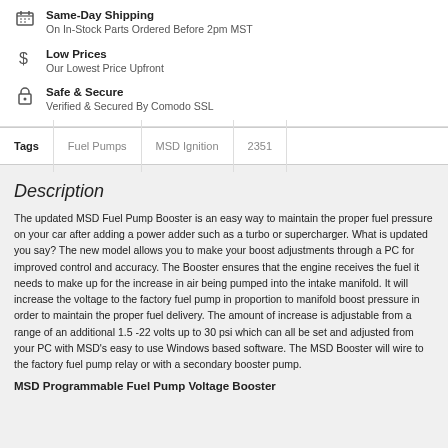Same-Day Shipping — On In-Stock Parts Ordered Before 2pm MST
Low Prices — Our Lowest Price Upfront
Safe & Secure — Verified & Secured By Comodo SSL
Tags | Fuel Pumps | MSD Ignition | 2351
Description
The updated MSD Fuel Pump Booster is an easy way to maintain the proper fuel pressure on your car after adding a power adder such as a turbo or supercharger. What is updated you say? The new model allows you to make your boost adjustments through a PC for improved control and accuracy. The Booster ensures that the engine receives the fuel it needs to make up for the increase in air being pumped into the intake manifold. It will increase the voltage to the factory fuel pump in proportion to manifold boost pressure in order to maintain the proper fuel delivery. The amount of increase is adjustable from a range of an additional 1.5 -22 volts up to 30 psi which can all be set and adjusted from your PC with MSD's easy to use Windows based software. The MSD Booster will wire to the factory fuel pump relay or with a secondary booster pump.
MSD Programmable Fuel Pump Voltage Booster